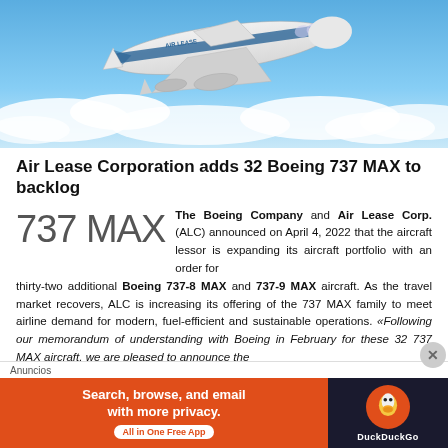[Figure (photo): A Boeing 737 MAX aircraft in flight above clouds with a blue sky background, painted in white with blue/teal livery markings.]
Air Lease Corporation adds 32 Boeing 737 MAX to backlog
The Boeing Company and Air Lease Corp. (ALC) announced on April 4, 2022 that the aircraft lessor is expanding its aircraft portfolio with an order for thirty-two additional Boeing 737-8 MAX and 737-9 MAX aircraft. As the travel market recovers, ALC is increasing its offering of the 737 MAX family to meet airline demand for modern, fuel-efficient and sustainable operations. «Following our memorandum of understanding with Boeing in February for these 32 737 MAX aircraft, we are pleased to announce the
Anuncios
[Figure (screenshot): DuckDuckGo advertisement banner: orange left side reading 'Search, browse, and email with more privacy. All in One Free App' with a dark right side showing the DuckDuckGo logo.]